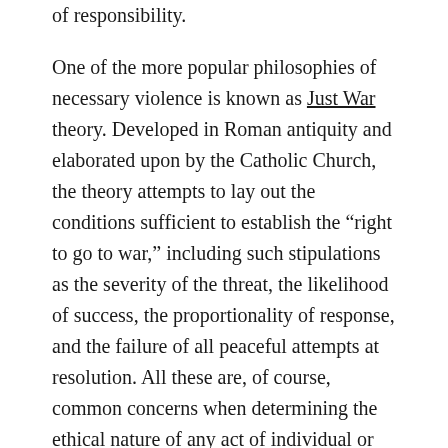of responsibility.
One of the more popular philosophies of necessary violence is known as Just War theory. Developed in Roman antiquity and elaborated upon by the Catholic Church, the theory attempts to lay out the conditions sufficient to establish the “right to go to war,” including such stipulations as the severity of the threat, the likelihood of success, the proportionality of response, and the failure of all peaceful attempts at resolution. All these are, of course, common concerns when determining the ethical nature of any act of individual or group violence. However, any philosophy that proposes to set out conditions under which violence may sometimes be